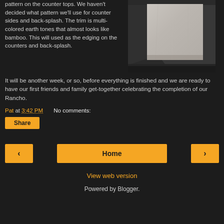pattern on the counter tops. We haven't decided what pattern we'll use for counter sides and back-splash. The trim is multi-colored earth tones that almost looks like bamboo. This will used as the edging on the counters and back-splash.
[Figure (photo): Photo of a light gray tile or countertop slab displayed in a dark corner setting, viewed from an angle.]
It will be another week, or so, before everything is finished and we are ready to have our first friends and family get-together celebrating the completion of our Rancho.
Pat at 3:42 PM    No comments:
Share
< Home >
View web version
Powered by Blogger.